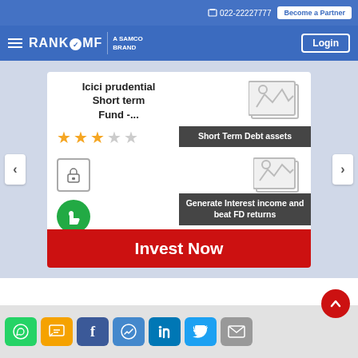📞 022-22227777  Become a Partner
[Figure (screenshot): RankMF - A Samco Brand navigation logo with hamburger menu and Login button]
Icici prudential Short term Fund -...
[Figure (illustration): Three gold filled stars and two empty stars rating (3 out of 5)]
[Figure (illustration): Lock icon in outlined box]
[Figure (illustration): Green thumbs up circle icon]
[Figure (illustration): Image placeholder graphic with dark overlay label: Short Term Debt assets]
[Figure (illustration): Image placeholder graphic with dark overlay label: Generate Interest income and beat FD returns]
Invest Now
[Figure (illustration): Social share buttons row: WhatsApp, SMS, Facebook, Messenger, LinkedIn, Twitter, Email. Red scroll-to-top button.]